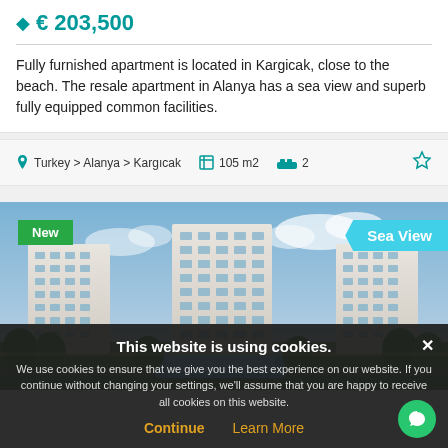€ 203,500
Fully furnished apartment is located in Kargicak, close to the beach. The resale apartment in Alanya has a sea view and superb fully equipped common facilities.
Turkey > Alanya > Kargicak   105 m2   2
[Figure (photo): Aerial rendering of a modern apartment complex with multiple tall residential towers, green landscaping, and a pool area. Badges show 'New' and 'Sea View'.]
This website is using cookies. We use cookies to ensure that we give you the best experience on our website. If you continue without changing your settings, we'll assume that you are happy to receive all cookies on this website. Continue  Learn More